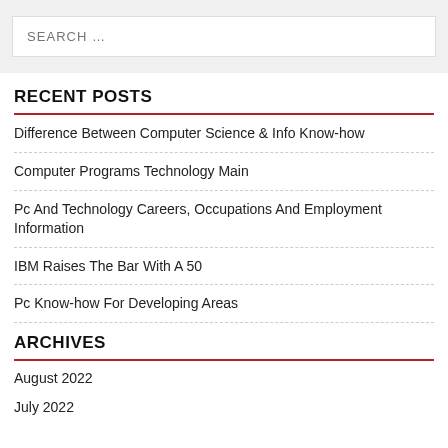SEARCH …
RECENT POSTS
Difference Between Computer Science & Info Know-how
Computer Programs Technology Main
Pc And Technology Careers, Occupations And Employment Information
IBM Raises The Bar With A 50
Pc Know-how For Developing Areas
ARCHIVES
August 2022
July 2022